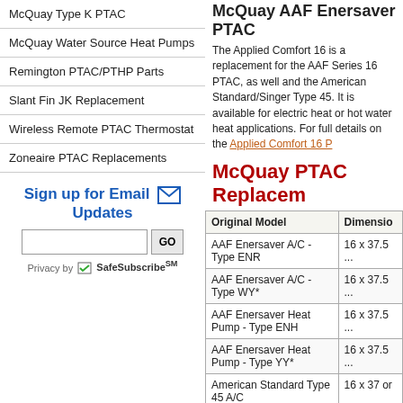McQuay Type K PTAC
McQuay Water Source Heat Pumps
Remington PTAC/PTHP Parts
Slant Fin JK Replacement
Wireless Remote PTAC Thermostat
Zoneaire PTAC Replacements
Sign up for Email Updates
McQuay AAF Enersaver PTAC
The Applied Comfort 16 is a replacement for the AAF Series 16 PTAC, as well and the American Standard/Singer Type 45. It is available for electric heat or hot water heat applications. For full details on the Applied Comfort 16 P...
McQuay PTAC Replacement
| Original Model | Dimensions |
| --- | --- |
| AAF Enersaver A/C - Type ENR | 16 x 37.5 ... |
| AAF Enersaver A/C - Type WY* | 16 x 37.5 ... |
| AAF Enersaver Heat Pump - Type ENH | 16 x 37.5 ... |
| AAF Enersaver Heat Pump - Type YY* | 16 x 37.5 ... |
| American Standard Type 45 A/C | 16 x 37 or... |
| American Standard Type 45 A/C | 16 x 37 or... |
| McQuay - Type MEA | 16.375 x 4... |
| McQuay - Type MQA | 16.375 x 4... |